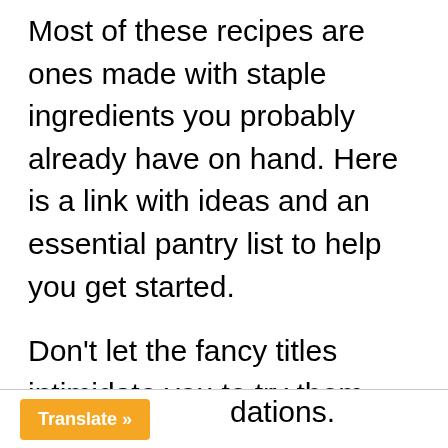Most of these recipes are ones made with staple ingredients you probably already have on hand. Here is a link with ideas and an essential pantry list to help you get started.
Don't let the fancy titles intimidate you to try them.  And if you are looking for something specific, please leave a comment below and we can send you some recommendations.